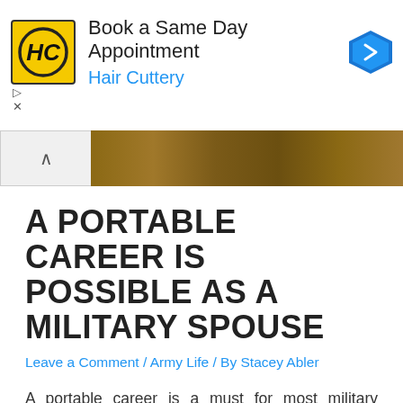[Figure (screenshot): Hair Cuttery advertisement banner with logo, 'Book a Same Day Appointment' headline, blue navigation arrow icon, and ad control icons]
[Figure (photo): Wood surface photo strip with a white toggle panel on the left showing an upward caret]
A PORTABLE CAREER IS POSSIBLE AS A MILITARY SPOUSE
Leave a Comment / Army Life / By Stacey Abler
A portable career is a must for most military spouses. Unless you get lucky and your soldier stays at one duty station for a long time, you are going to need a career that can travel with you. It seems that a lot (not all) spouses are under the impression that they can't make great ...
Read More »